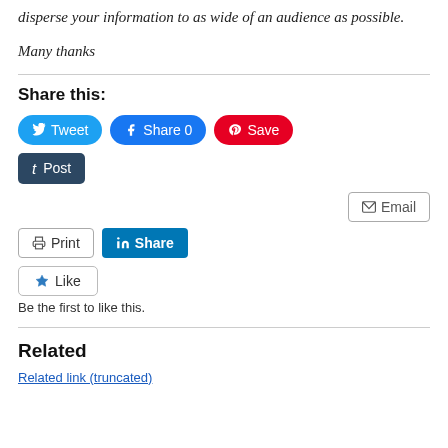disperse your information to as wide of an audience as possible.
Many thanks
Share this:
[Figure (screenshot): Social media share buttons: Tweet (Twitter, blue), Share 0 (Facebook, blue), Save (Pinterest, red), Post (Tumblr, dark blue), Email (outlined), Print (outlined), Share (LinkedIn, blue), Like button with star icon]
Be the first to like this.
Related
Related link (blue, truncated)